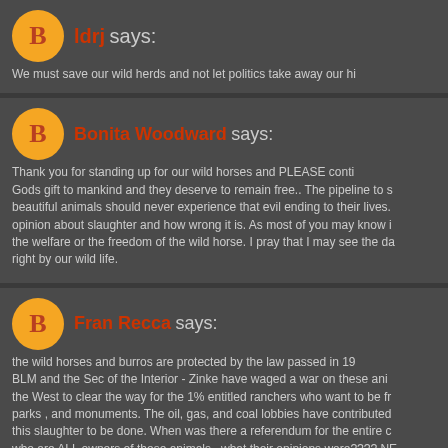ldrj says: We must save our wild herds and not let politics take away our hi
Bonita Woodward says: Thank you for standing up for our wild horses and PLEASE conti... Gods gift to mankind and they deserve to remain free.. The pipeline to s... beautiful animals should never experience that evil ending to their lives. opinion about slaughter and how wrong it is. As most of you may know i the welfare or the freedom of the wild horse. I pray that I may see the da right by our wild life.
Fran Recca says: the wild horses and burros are protected by the law passed in 19... BLM and the Sec of the Interior - Zinke have waged a war on these ani... the West to clear the way for the 1% entitled ranchers who want to be fr parks , and monuments. The oil, gas, and coal lobbies have contributed this slaughter to be done. When was there a referendum for the entire c who are ALL owners of these animals , what their opinions were???? NE